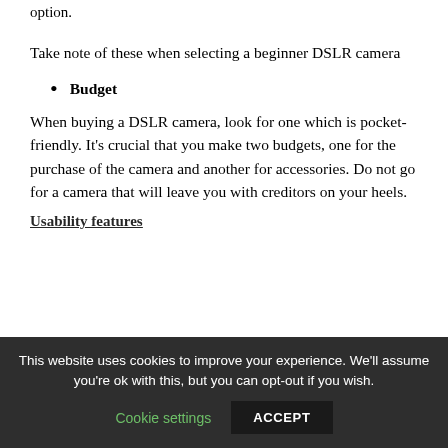option.
Take note of these when selecting a beginner DSLR camera
Budget
When buying a DSLR camera, look for one which is pocket-friendly. It's crucial that you make two budgets, one for the purchase of the camera and another for accessories. Do not go for a camera that will leave you with creditors on your heels.
Usability features
This website uses cookies to improve your experience. We'll assume you're ok with this, but you can opt-out if you wish.
Cookie settings | ACCEPT